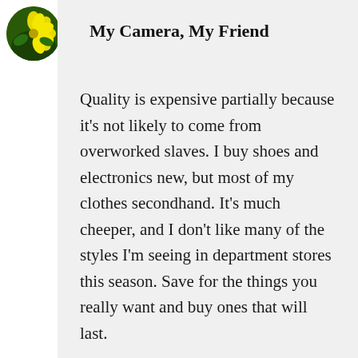[Figure (photo): Circular avatar image of a yellow flower with green leaves on a dark green background]
My Camera, My Friend
Quality is expensive partially because it’s not likely to come from overworked slaves. I buy shoes and electronics new, but most of my clothes secondhand. It’s much cheeper, and I don’t like many of the styles I’m seeing in department stores this season. Save for the things you really want and buy ones that will last.